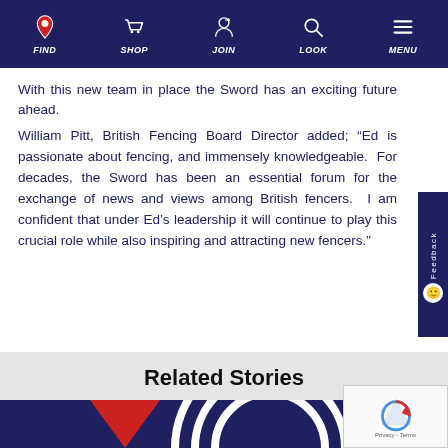FIND   SHOP   JOIN   LOOK   MENU
With this new team in place the Sword has an exciting future ahead.
William Pitt, British Fencing Board Director added; “Ed is passionate about fencing, and immensely knowledgeable.  For decades, the Sword has been an essential forum for the exchange of news and views among British fencers.  I am confident that under Ed’s leadership it will continue to play this crucial role while also inspiring and attracting new fencers.”
Related Stories
[Figure (illustration): Bottom portion of British Fencing website showing a dark navy blue banner with a red triangle and white concentric arc design]